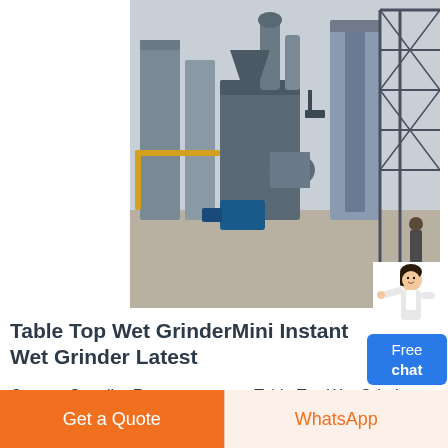[Figure (photo): Industrial machinery/grinding mill facility with large equipment, pipes, ducts, and metal framework in an outdoor industrial setting]
Table Top Wet GrinderMini Instant Wet Grinder Latest
Contact Supplier Request a quote Table Top Wet Grinder Capacity 2 Litre ₹ 3 Lakh Get Latest Price Capacity 2 Litre Weight 13 Kgs with attachments on packed condition Jar Material Stainless Steel Grinding Time 15 Min to 20 Min Motor 150 Watts Single Phase 960 RPM 240 Volts AC 50Hz Country of
[Figure (illustration): Customer support representative figure with Free chat button widget]
Get a Quote
WhatsApp